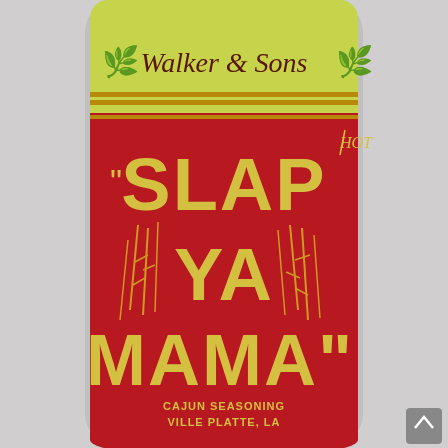[Figure (photo): A cylindrical container of 'Slap Ya Mama' Cajun Seasoning by Walker & Sons, ville Platte, LA. The label has a yellow-green top with the brand name 'Walker & Sons' in dark red italic script, followed by a red main label area with large yellow bold text reading "SLAP YA MAMA" with pepper illustrations and the text 'HOT', 'CAJUN SEASONING', 'VILLE PLATTE, LA' at the bottom.]